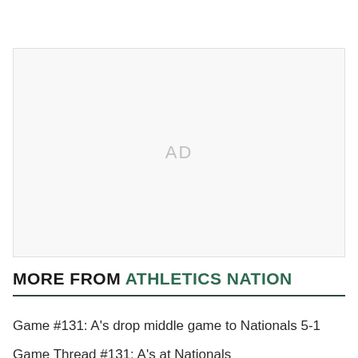[Figure (other): Advertisement placeholder box with 'AD' label in center]
MORE FROM ATHLETICS NATION
Game #131: A's drop middle game to Nationals 5-1
Game Thread #131: A's at Nationals